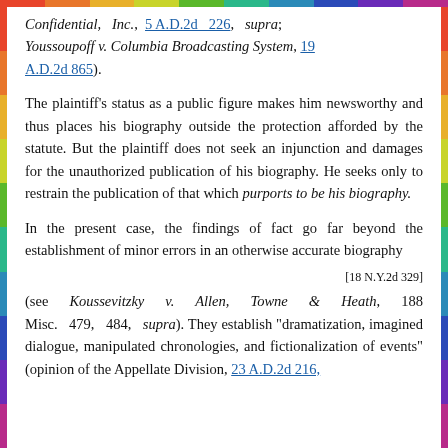Confidential, Inc., 5 A.D.2d 226, supra; Youssoupoff v. Columbia Broadcasting System, 19 A.D.2d 865).
The plaintiff's status as a public figure makes him newsworthy and thus places his biography outside the protection afforded by the statute. But the plaintiff does not seek an injunction and damages for the unauthorized publication of his biography. He seeks only to restrain the publication of that which purports to be his biography.
In the present case, the findings of fact go far beyond the establishment of minor errors in an otherwise accurate biography
[18 N.Y.2d 329]
(see Koussevitzky v. Allen, Towne & Heath, 188 Misc. 479, 484, supra). They establish "dramatization, imagined dialogue, manipulated chronologies, and fictionalization of events" (opinion of the Appellate Division, 23 A.D.2d 216,